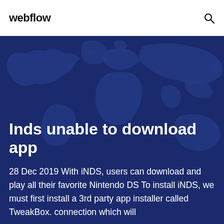webflow
Inds unable to download app
28 Dec 2019 With iNDS, users can download and play all their favorite Nintendo DS To install iNDS, we must first install a 3rd party app installer called TweakBox. connection which will